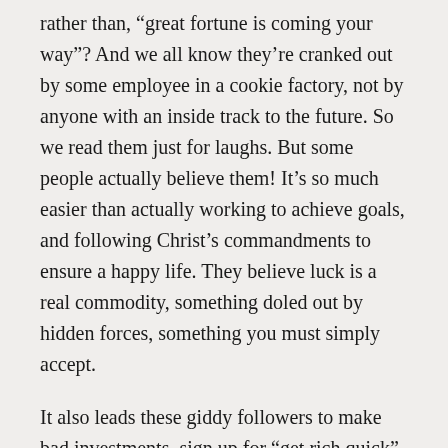rather than, “great fortune is coming your way”? And we all know they’re cranked out by some employee in a cookie factory, not by anyone with an inside track to the future. So we read them just for laughs. But some people actually believe them! It’s so much easier than actually working to achieve goals, and following Christ’s commandments to ensure a happy life. They believe luck is a real commodity, something doled out by hidden forces, something you must simply accept.
It also leads these giddy followers to make bad investments, sign up for “get rich quick” schemes, and gamble their savings because they feel lucky. They have stopped using their powers of reasoning and are making decisions based on pure emotion. Horse races, casinos, and lotteries all count on the